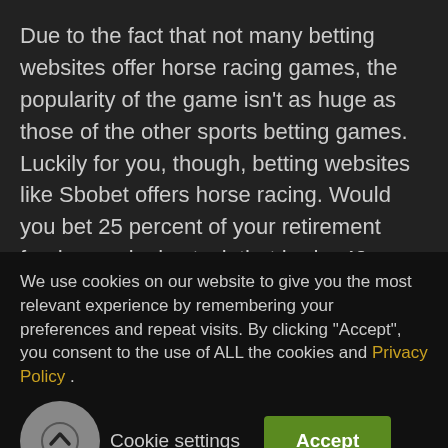Due to the fact that not many betting websites offer horse racing games, the popularity of the game isn't as huge as those of the other sports betting games. Luckily for you, though, betting websites like Sbobet offers horse racing. Would you bet 25 percent of your retirement fund on a single stock that had a 40 percent chance of going in the tank tomorrow? Would you invest in a real estate development under the same scenario? Nobody would do either of these propositions, yet many people are willing
We use cookies on our website to give you the most relevant experience by remembering your preferences and repeat visits. By clicking "Accept", you consent to the use of ALL the cookies and Privacy Policy .
Cookie settings
Accept